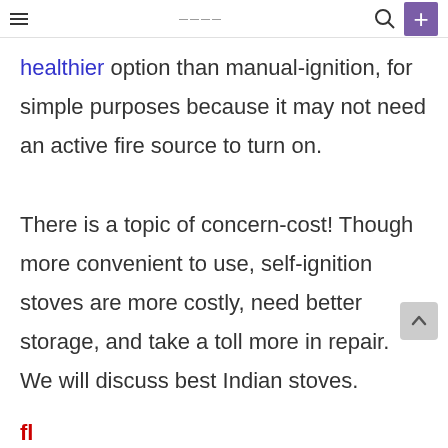navbar with hamburger menu, brand logo, search icon, and purple + button
healthier option than manual-ignition, for simple purposes because it may not need an active fire source to turn on.

There is a topic of concern-cost! Though more convenient to use, self-ignition stoves are more costly, need better storage, and take a toll more in repair. We will discuss best Indian stoves.